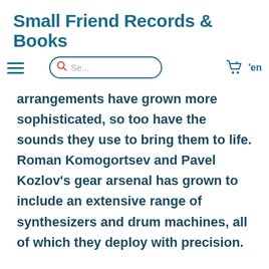Small Friend Records & Books
arrangements have grown more sophisticated, so too have the sounds they use to bring them to life. Roman Komogortsev and Pavel Kozlov's gear arsenal has grown to include an extensive range of synthesizers and drum machines, all of which they deploy with precision.